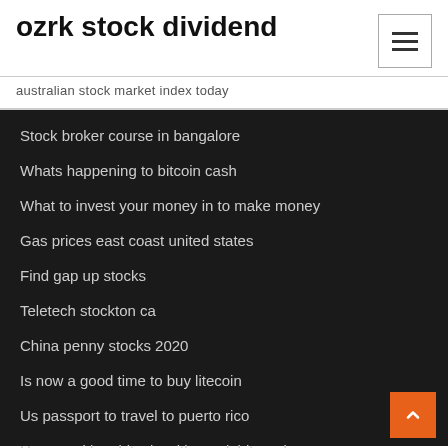ozrk stock dividend
australian stock market index today
Stock broker course in bangalore
Whats happening to bitcoin cash
What to invest your money in to make money
Gas prices east coast united states
Find gap up stocks
Teletech stockton ca
China penny stocks 2020
Is now a good time to buy litecoin
Us passport to travel to puerto rico
How can i buy bitcoin with my debit card